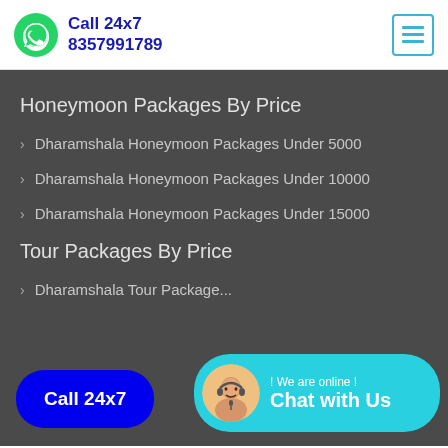Call 24x7 8357991789
Honeymoon Packages By Price
Dharamshala Honeymoon Packages Under 5000
Dharamshala Honeymoon Packages Under 10000
Dharamshala Honeymoon Packages Under 15000
Tour Packages By Price
Dharamshala Tour Package...
Call 24x7
! We are online ! Chat with Us